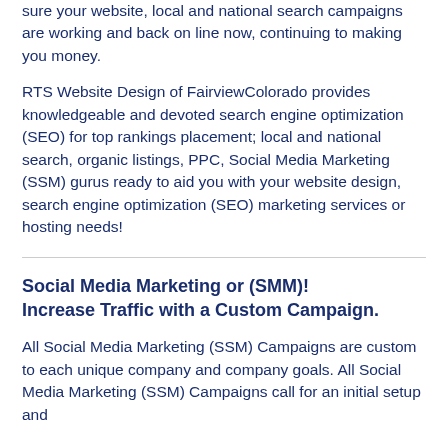sure your website, local and national search campaigns are working and back on line now, continuing to making you money.
RTS Website Design of FairviewColorado provides knowledgeable and devoted search engine optimization (SEO) for top rankings placement; local and national search, organic listings, PPC, Social Media Marketing (SSM) gurus ready to aid you with your website design, search engine optimization (SEO) marketing services or hosting needs!
Social Media Marketing or (SMM)!
Increase Traffic with a Custom Campaign.
All Social Media Marketing (SSM) Campaigns are custom to each unique company and company goals. All Social Media Marketing (SSM) Campaigns call for an initial setup and